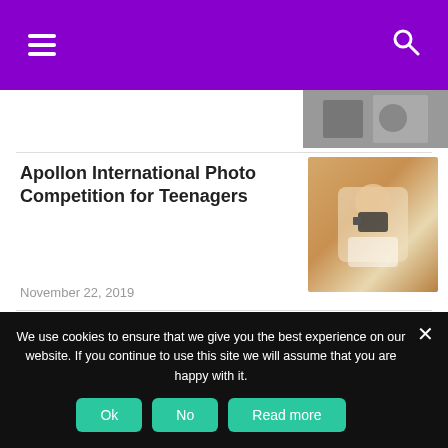Navigation header with hamburger menu and search icon
[Figure (photo): Partial view of a photo at top right, partially cut off]
Apollon International Photo Competition for Teenagers
November 22, 2019
[Figure (photo): Woman with long blonde hair holding a camera up to her face, outdoors in sandy/desert environment]
A Major Event for Teenagers
November 7, 2019
[Figure (photo): Person driving a car, hands on steering wheel, wearing striped long-sleeve shirt]
We use cookies to ensure that we give you the best experience on our website. If you continue to use this site we will assume that you are happy with it.